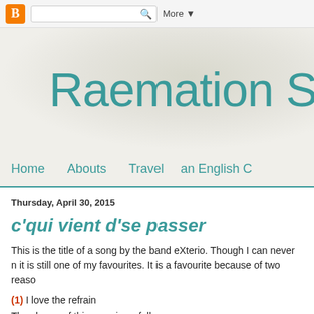[Figure (screenshot): Blogger navigation bar with orange B icon, search box, and More dropdown]
Raemation St
Home    Abouts    Travel    an English C
Thursday, April 30, 2015
c'qui vient d'se passer
This is the title of a song by the band eXterio.  Though I can never n it is still one of my favourites.  It is a favourite because of two reaso
(1) I love the refrain
The chorus of this song is as follows: